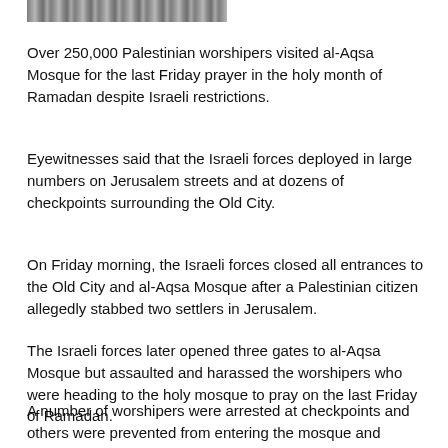[Figure (photo): Partial view of a crowd at al-Aqsa Mosque, showing dense gathering of worshipers, cropped at the top of the page.]
Over 250,000 Palestinian worshipers visited al-Aqsa Mosque for the last Friday prayer in the holy month of Ramadan despite Israeli restrictions.
Eyewitnesses said that the Israeli forces deployed in large numbers on Jerusalem streets and at dozens of checkpoints surrounding the Old City.
On Friday morning, the Israeli forces closed all entrances to the Old City and al-Aqsa Mosque after a Palestinian citizen allegedly stabbed two settlers in Jerusalem.
The Israeli forces later opened three gates to al-Aqsa Mosque but assaulted and harassed the worshipers who were heading to the holy mosque to pray on the last Friday of Ramadan.
A number of worshipers were arrested at checkpoints and others were prevented from entering the mosque and ordered to return.